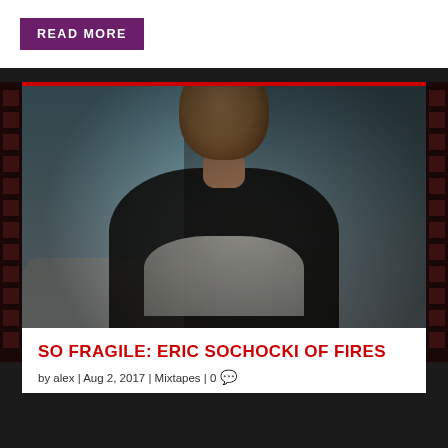READ MORE
[Figure (photo): Black and white moody portrait of a bearded man with dark hair looking downward, wearing a white t-shirt and dark jacket, seated against a light blue-grey background]
SO FRAGILE: ERIC SOCHOCKI OF FIRES
by alex | Aug 2, 2017 | Mixtapes | 0